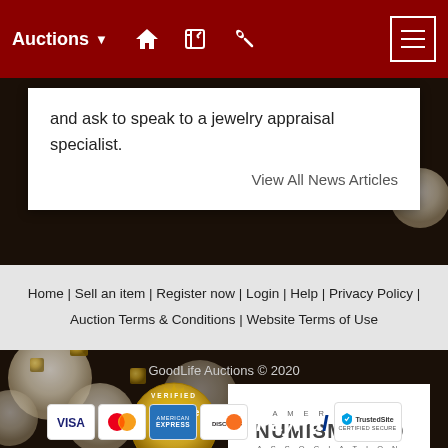Auctions
and ask to speak to a jewelry appraisal specialist.
View All News Articles
Home | Sell an item | Register now | Login | Help | Privacy Policy | Auction Terms & Conditions | Website Terms of Use
GoodLife Auctions © 2020
[Figure (logo): Authorize.Net Verified Merchant badge]
[Figure (logo): American Numismatic Association logo]
[Figure (logo): Payment logos: Visa, MasterCard, American Express, Discover, PayPal, TrustedSite Certified Secure]